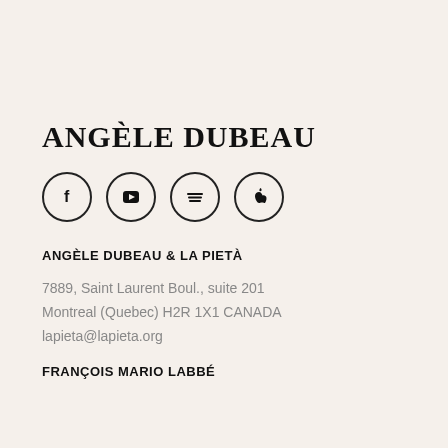ANGÈLE DUBEAU
[Figure (illustration): Four social media icons in circles: Facebook (f), YouTube (play button), Spotify (horizontal lines), Apple (apple logo)]
ANGÈLE DUBEAU & LA PIETÀ
7889, Saint Laurent Boul., suite 201
Montreal (Quebec) H2R 1X1 CANADA
lapieta@lapieta.org
FRANÇOIS MARIO LABBÉ